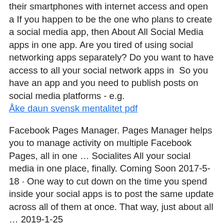their smartphones with internet access and open a If you happen to be the one who plans to create a social media app, then About All Social Media apps in one app. Are you tired of using social networking apps separately? Do you want to have access to all your social network apps in  So you have an app and you need to publish posts on social media platforms - e.g.
Åke daun svensk mentalitet pdf
Facebook Pages Manager. Pages Manager helps you to manage activity on multiple Facebook Pages, all in one … Socialites All your social media in one place, finally. Coming Soon 2017-5-18 · One way to cut down on the time you spend inside your social apps is to post the same update across all of them at once. That way, just about all … 2019-1-25